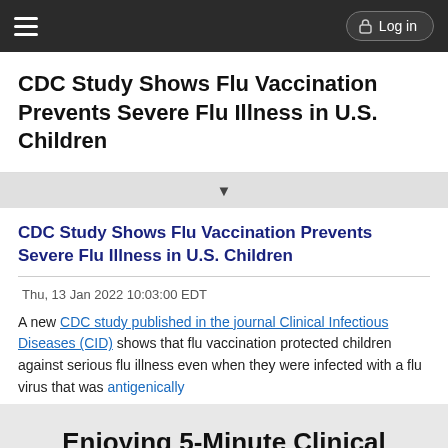Log in
CDC Study Shows Flu Vaccination Prevents Severe Flu Illness in U.S. Children
CDC Study Shows Flu Vaccination Prevents Severe Flu Illness in U.S. Children
Thu, 13 Jan 2022 10:03:00 EDT
A new CDC study published in the journal Clinical Infectious Diseases (CID) shows that flu vaccination protected children against serious flu illness even when they were infected with a flu virus that was antigenically
Enjoying 5-Minute Clinical Consult?
Access up-to-date medical information for less than $2 a week
Purchase a subscription
I'm already a subscriber